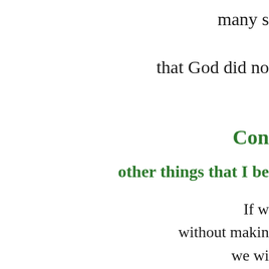many s
that God did no
Con
other things that I be
If w
without makin
we wi
less joy a
in our marriage
with o
Some
is not exper
but may
in ou